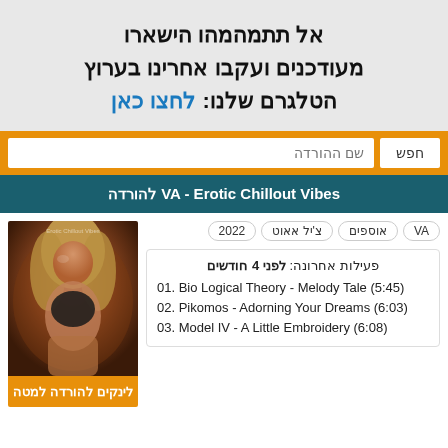אל תתמהמהו הישארו מעודכנים ועקבו אחרינו בערוץ הטלגרם שלנו: לחצו כאן
שם ההורדה
חפש
VA - Erotic Chillout Vibes להורדה
VA | אוספים | צ'יל אאוט | 2022
פעילות אחרונה: לפני 4 חודשים
01. Bio Logical Theory - Melody Tale (5:45)
02. Pikomos - Adorning Your Dreams (6:03)
03. Model IV - A Little Embroidery (6:08)
[Figure (photo): Album cover photo for VA - Erotic Chillout Vibes showing a woman]
לינקים להורדה למטה